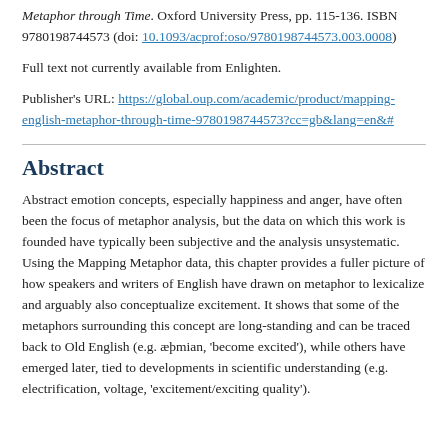Metaphor through Time. Oxford University Press, pp. 115-136. ISBN 9780198744573 (doi: 10.1093/acprof:oso/9780198744573.003.0008)
Full text not currently available from Enlighten.
Publisher's URL: https://global.oup.com/academic/product/mapping-english-metaphor-through-time-9780198744573?cc=gb&lang=en&#
Abstract
Abstract emotion concepts, especially happiness and anger, have often been the focus of metaphor analysis, but the data on which this work is founded have typically been subjective and the analysis unsystematic. Using the Mapping Metaphor data, this chapter provides a fuller picture of how speakers and writers of English have drawn on metaphor to lexicalize and arguably also conceptualize excitement. It shows that some of the metaphors surrounding this concept are long-standing and can be traced back to Old English (e.g. æþmian, 'become excited'), while others have emerged later, tied to developments in scientific understanding (e.g. electrification, voltage, 'excitement/exciting quality').